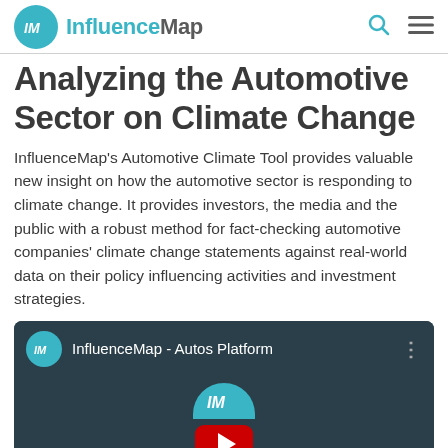InfluenceMap
Analyzing the Automotive Sector on Climate Change
InfluenceMap’s Automotive Climate Tool provides valuable new insight on how the automotive sector is responding to climate change. It provides investors, the media and the public with a robust method for fact-checking automotive companies’ climate change statements against real-world data on their policy influencing activities and investment strategies.
[Figure (screenshot): YouTube video embed thumbnail showing InfluenceMap - Autos Platform with the InfluenceMap teal circular logo and YouTube red play button on a dark teal background]